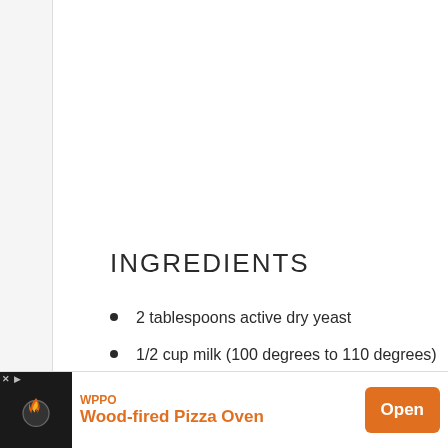INGREDIENTS
2 tablespoons active dry yeast
1/2 cup milk (100 degrees to 110 degrees)
1/3 cup + 1 teaspoon sugar
2 1/4 cups all-purpose flour
3 large egg yolks
[Figure (other): Advertisement banner for WPPO Wood-fired Pizza Oven with orange Open button]